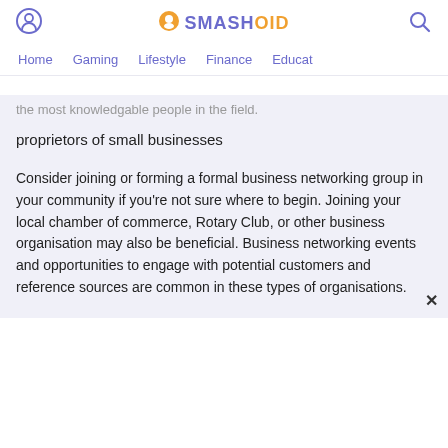SMASHOID — Home | Gaming | Lifestyle | Finance | Educat
the most knowledgable people in the field.
proprietors of small businesses
Consider joining or forming a formal business networking group in your community if you're not sure where to begin. Joining your local chamber of commerce, Rotary Club, or other business organisation may also be beneficial. Business networking events and opportunities to engage with potential customers and reference sources are common in these types of organisations.